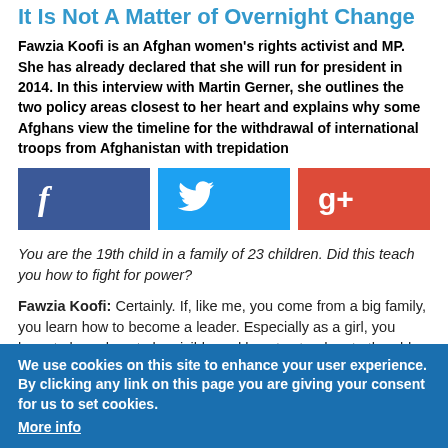It Is Not A Matter of Overnight Change
Fawzia Koofi is an Afghan women's rights activist and MP. She has already declared that she will run for president in 2014. In this interview with Martin Gerner, she outlines the two policy areas closest to her heart and explains why some Afghans view the timeline for the withdrawal of international troops from Afghanistan with trepidation
[Figure (infographic): Social sharing buttons: Facebook (blue), Twitter (light blue), Google+ (red)]
You are the 19th child in a family of 23 children. Did this teach you how to fight for power?
Fawzia Koofi: Certainly. If, like me, you come from a big family, you learn how to become a leader. Especially as a girl, you have to learn how to be visible and how to stand up to the elder members of the family.
You will run for president in 2014. Let us dream for a moment; let us imagine that you win: what would you change?
Koofi: Why dream? Why not think of it as a reality? My focus will basically
We use cookies on this site to enhance your user experience. By clicking any link on this page you are giving your consent for us to set cookies. More info